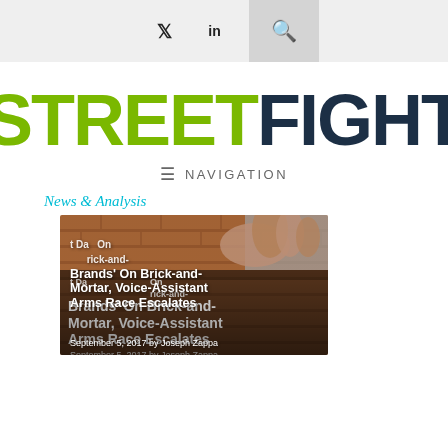Twitter Facebook LinkedIn Search — Navigation bar icons
[Figure (logo): Street Fight logo: STREET in green, FIGHT in dark navy, bold large text]
≡ NAVIGATION
News & Analysis
[Figure (photo): Photograph of hands placing a brick, with overlaid article headline text: Brands' Data On Brick-and-Mortar, Voice-Assistant Arms Race Escalates, September 5, 2017 by Joseph Zappa]